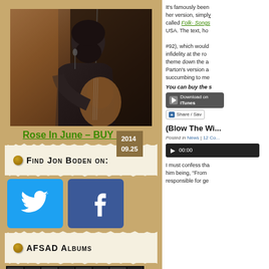[Figure (photo): Man playing guitar on stage, black and white photo]
Rose In June – BUY NOW
Find Jon Boden on:
[Figure (logo): Twitter logo icon (blue background with white bird)]
[Figure (logo): Facebook logo icon (blue background with white f)]
AFSAD Albums
[Figure (screenshot): Album thumbnails strip, dark background]
It's famously been... her version, simply called Folk- Songs... USA. The text, ho... #92), which would... infidelity at the ro... theme down the a... Parton's version a... succumbing to me...
You can buy the s...
[Figure (screenshot): iTunes download button]
[Figure (screenshot): Share / Save button]
2014 09.25
(Blow The Wi...
Posted in News | 12 Co...
[Figure (screenshot): Audio player with play button showing 00:00]
I must confess tha... him being, "From... responsible for ge...